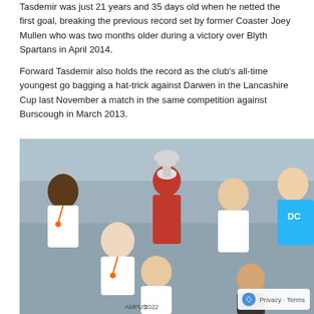Tasdemir was just 21 years and 35 days old when he netted the first goal, breaking the previous record set by former Coaster Joey Mullen who was two months older during a victory over Blyth Spartans in April 2014.
Forward Tasdemir also holds the record as the club's all-time youngest goalscorer, bagging a hat-trick against Darwen in the Lancashire Cup last November, superseding a match in the same competition against Burscough in March 2013.
[Figure (photo): Group photo of football players celebrating with a trophy (a large silver cup). Players are wearing white and red kits with medals/lanyards. One man on the right wears a blue jacket with 'DC' text. The word 'Privacy - Terms' appears in the bottom right corner with a reCAPTCHA logo.]